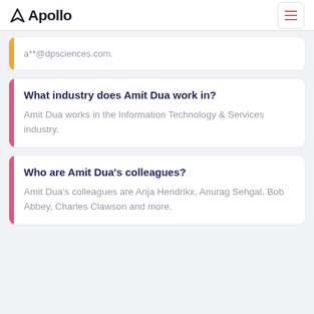Apollo
a**@dpsciences.com.
What industry does Amit Dua work in?
Amit Dua works in the Information Technology & Services industry.
Who are Amit Dua's colleagues?
Amit Dua's colleagues are Anja Hendrikx, Anurag Sehgal, Bob Abbey, Charles Clawson and more.